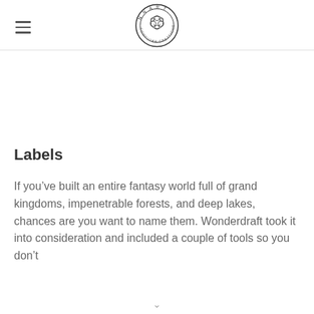NNART Computer Creations logo
Labels
If you’ve built an entire fantasy world full of grand kingdoms, impenetrable forests, and deep lakes, chances are you want to name them. Wonderdraft took it into consideration and included a couple of tools so you don’t